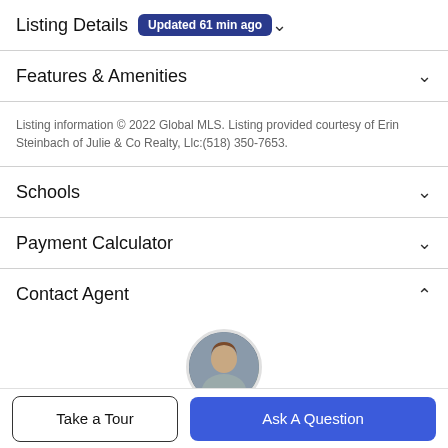Listing Details — Updated 61 min ago
Features & Amenities
Listing information © 2022 Global MLS. Listing provided courtesy of Erin Steinbach of Julie & Co Realty, Llc:(518) 350-7653.
Schools
Payment Calculator
Contact Agent
[Figure (photo): Agent profile photo, partially visible circular avatar]
Take a Tour
Ask A Question